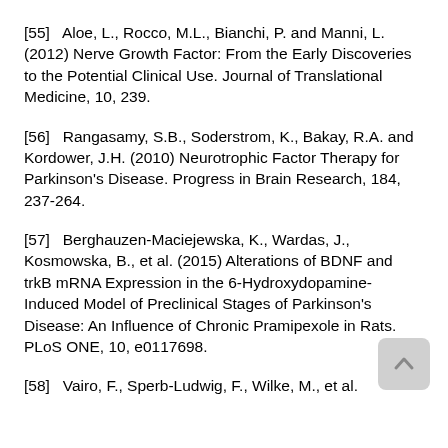[55]   Aloe, L., Rocco, M.L., Bianchi, P. and Manni, L. (2012) Nerve Growth Factor: From the Early Discoveries to the Potential Clinical Use. Journal of Translational Medicine, 10, 239.
[56]   Rangasamy, S.B., Soderstrom, K., Bakay, R.A. and Kordower, J.H. (2010) Neurotrophic Factor Therapy for Parkinson's Disease. Progress in Brain Research, 184, 237-264.
[57]   Berghauzen-Maciejewska, K., Wardas, J., Kosmowska, B., et al. (2015) Alterations of BDNF and trkB mRNA Expression in the 6-Hydroxydopamine-Induced Model of Preclinical Stages of Parkinson's Disease: An Influence of Chronic Pramipexole in Rats. PLoS ONE, 10, e0117698.
[58]   Vairo, F., Sperb-Ludwig, F., Wilke, M., et al.